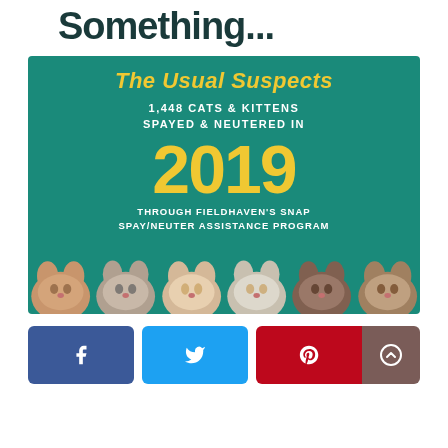Something...
[Figure (infographic): Infographic on teal/green background showing 'The Usual Suspects' with text '1,448 CATS & KITTENS SPAYED & NEUTERED IN 2019 THROUGH FIELDHAVEN'S SNAP SPAY/NEUTER ASSISTANCE PROGRAM' and photos of six cat faces along the bottom.]
[Figure (infographic): Social sharing buttons: Facebook (blue), Twitter (cyan), Pinterest (red), and a scroll-up button (dark brown/gray).]